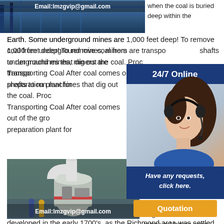[Figure (photo): Industrial facility interior with blue steel structure, email address overlay: Email:lmzgvip@gmail.com]
when the coal is buried deep within the Earth. Some underground mines are 1,000 feet deep! To remove coal from underground mines, miners are transported down shafts to run machines that dig out the coal. Processing and Transporting Coal After coal comes out of the ground, it goes to a preparation plant for
[Figure (photo): 24/7 Online chat widget with woman wearing headset, blue background, Have any requests, click here. Quotation button]
[Figure (photo): Industrial grinding mill machine inside warehouse building, email overlay: Email:lmzgvip@gmail.com]
Coal Mining and Transportation in Virginia. 2020... and Transportation in Virginia. The first coal mines in Virginia were developed in the early 1700's, as the Richmond area was settled by European immigrants. The coal was carried from the mines in the Triassic Basin, near Midlothian in Chesterfield County and near